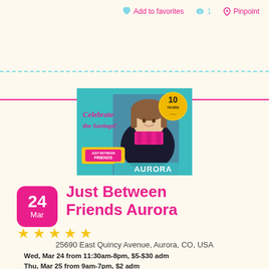Add to favorites   1   Pinpoint
[Figure (photo): Just Between Friends Aurora event banner showing a smiling girl with a pink scarf, text 'Celebrate the Savings!', 'JUST BETWEEN FRIENDS', 'AURORA', and '10 YEARS' badge]
Just Between Friends Aurora
25690 East Quincy Avenue, Aurora, CO, USA
Wed, Mar 24 from 11:30am-8pm, $5-$30 adm
Thu, Mar 25 from 9am-7pm, $2 adm
Fri, Mar 26 from 9am-5pm, $2 adm
Sat, Mar 27 from 9am-4pm, $2 adm, 25% off sale
Sat, Mar 27 50% OFF PRESALE: 5:30-7pm, $10 adm
Sun, Mar 28 from 9am-3pm, $2 adm - 50% OFF SALE!